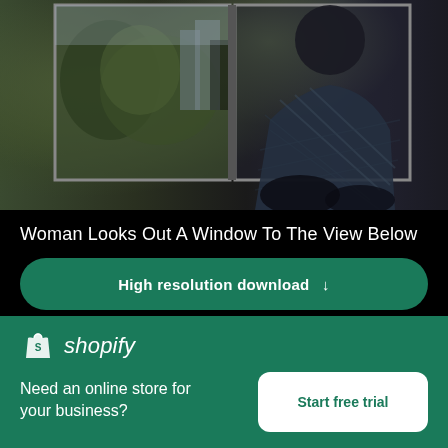[Figure (photo): Woman sitting by a window looking out at a city view below, wearing a plaid shirt, dark moody lighting]
Woman Looks Out A Window To The View Below
High resolution download ↓
[Figure (photo): Close-up of textured rocks or stone surface, beige/cream colored]
[Figure (logo): Shopify logo — shopping bag icon with S and 'shopify' in italic text]
Need an online store for your business?
Start free trial